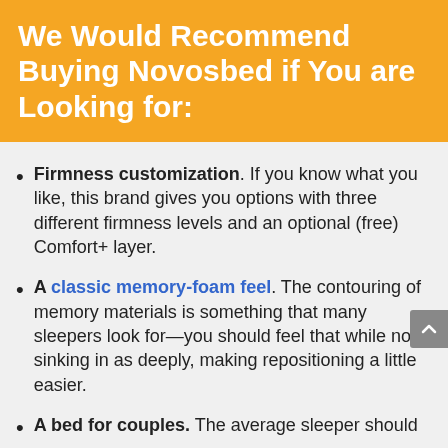We Would Recommend Buying Novosbed if You are Looking for:
Firmness customization. If you know what you like, this brand gives you options with three different firmness levels and an optional (free) Comfort+ layer.
A classic memory-foam feel. The contouring of memory materials is something that many sleepers look for—you should feel that while not sinking in as deeply, making repositioning a little easier.
A bed for couples. The average sleeper should